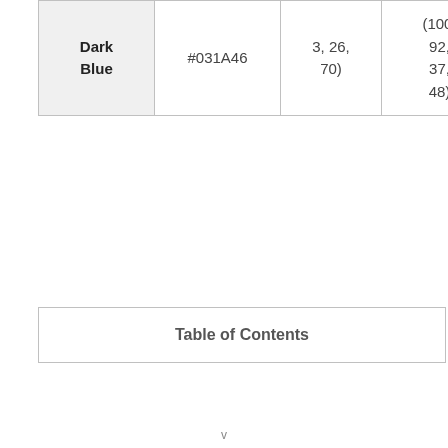| Dark Blue | #031A46 | 3, 26, 70) | (100, 92, 37, 48) | PMS 2768 |
| Table of Contents |